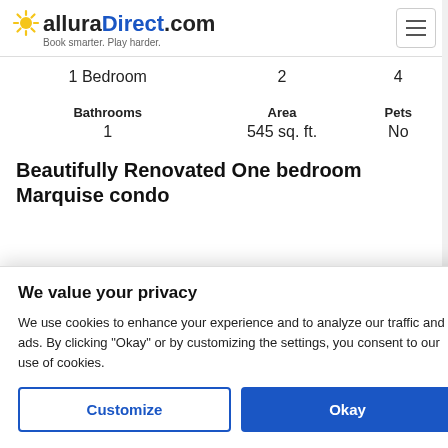alluraDirect.com — Book smarter. Play harder.
|  |  |  |
| --- | --- | --- |
| 1 Bedroom | 2 | 4 |
| Bathrooms | Area | Pets |
| 1 | 545 sq. ft. | No |
Beautifully Renovated One bedroom Marquise condo
We value your privacy
We use cookies to enhance your experience and to analyze our traffic and ads. By clicking "Okay" or by customizing the settings, you consent to our use of cookies.